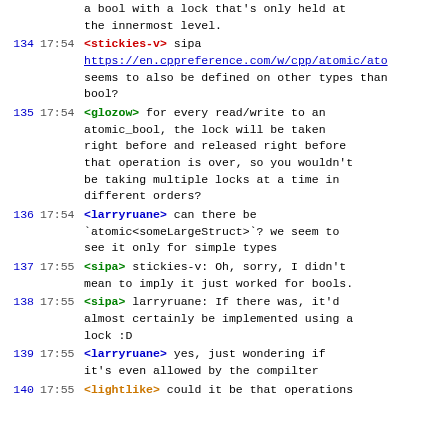continuation: a bool with a lock that's only held at the innermost level.
134 17:54 <stickies-v> sipa https://en.cppreference.com/w/cpp/atomic/ato seems to also be defined on other types than bool?
135 17:54 <glozow> for every read/write to an atomic_bool, the lock will be taken right before and released right before that operation is over, so you wouldn't be taking multiple locks at a time in different orders?
136 17:54 <larryruane> can there be `atomic<someLargeStruct>`? we seem to see it only for simple types
137 17:55 <sipa> stickies-v: Oh, sorry, I didn't mean to imply it just worked for bools.
138 17:55 <sipa> larryruane: If there was, it'd almost certainly be implemented using a lock :D
139 17:55 <larryruane> yes, just wondering if it's even allowed by the compilter
140 17:55 <lightlike> could it be that operations